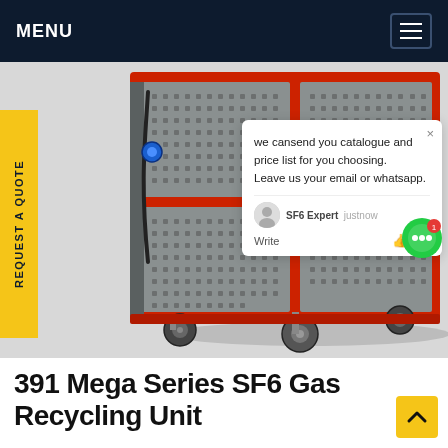MENU
[Figure (photo): SF6 gas recycling unit machine — a large industrial unit with red frame, grey perforated metal panels, and caster wheels. Blue connector visible on left side. Viewed at slight angle on white/grey background.]
REQUEST A QUOTE
we cansend you catalogue and price list for you choosing. Leave us your email or whatsapp.
SF6 Expert   justnow
Write
391 Mega Series SF6 Gas Recycling Unit